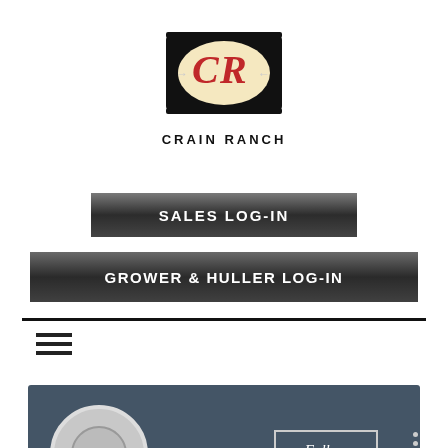[Figure (logo): Crain Ranch logo: black rectangular badge with ornate CR monogram in red on cream oval background, decorative arrows on sides]
CRAIN RANCH
[Figure (screenshot): Dark gradient button with text SALES LOG-IN in white uppercase letters]
[Figure (screenshot): Dark gradient button with text GROWER & HULLER LOG-IN in white uppercase letters]
[Figure (screenshot): Hamburger menu icon (three horizontal lines) below a horizontal divider line]
[Figure (screenshot): Dark blue-grey social media profile panel with circular avatar placeholder and Follow button with three-dot menu]